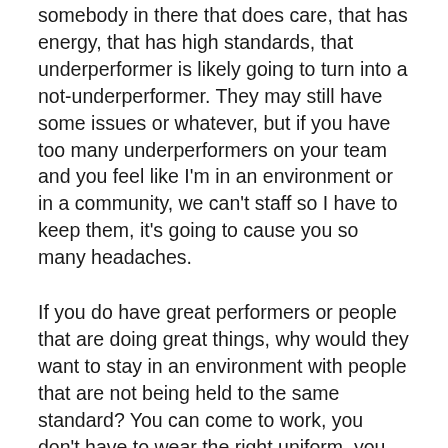somebody in there that does care, that has energy, that has high standards, that underperformer is likely going to turn into a not-underperformer. They may still have some issues or whatever, but if you have too many underperformers on your team and you feel like I'm in an environment or in a community, we can't staff so I have to keep them, it's going to cause you so many headaches.
If you do have great performers or people that are doing great things, why would they want to stay in an environment with people that are not being held to the same standard? You can come to work, you don't have to wear the right uniform, you don't have to smile, you don't have to be great with customers, you don't have to follow the rules – people that are doing a great job are not going to want to work in that environment for very long, so that's a big one. If you have too many underperformers, people aren't going to care and you're going to be in that same boat, and the same